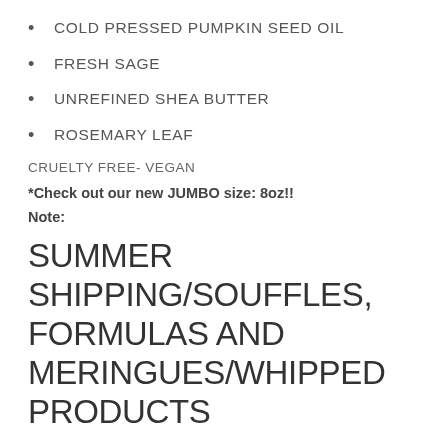COLD PRESSED PUMPKIN SEED OIL
FRESH SAGE
UNREFINED SHEA BUTTER
ROSEMARY LEAF
CRUELTY FREE- VEGAN
*Check out our new JUMBO size: 8oz!!
Note:
SUMMER SHIPPING/SOUFFLES, FORMULAS AND MERINGUES/WHIPPED PRODUCTS
We do not add fillers or waxes which can clog pores to our products. In the warm months or in hot climates, Souffles,